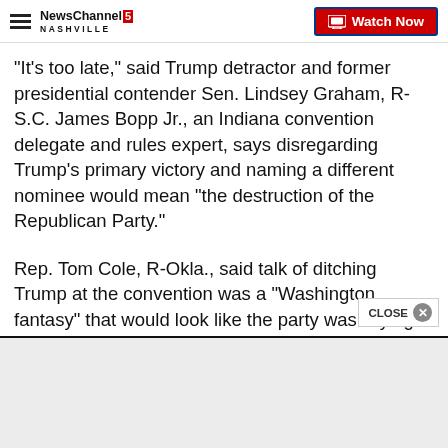NewsChannel 5 NASHVILLE | Watch Now
"It's too late," said Trump detractor and former presidential contender Sen. Lindsey Graham, R-S.C. James Bopp Jr., an Indiana convention delegate and rules expert, says disregarding Trump's primary victory and naming a different nominee would mean "the destruction of the Republican Party."
Rep. Tom Cole, R-Okla., said talk of ditching Trump at the convention was a "Washington fantasy" that would look like the party was "trying to undo the will of t